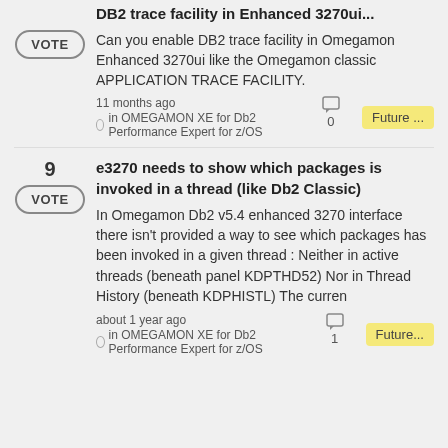DB2 trace facility in Enhanced 3270ui...
Can you enable DB2 trace facility in Omegamon Enhanced 3270ui like the Omegamon classic APPLICATION TRACE FACILITY.
11 months ago in OMEGAMON XE for Db2 Performance Expert for z/OS
0
Future ...
9
VOTE
e3270 needs to show which packages is invoked in a thread (like Db2 Classic)
In Omegamon Db2 v5.4 enhanced 3270 interface there isn't provided a way to see which packages has been invoked in a given thread : Neither in active threads (beneath panel KDPTHD52) Nor in Thread History (beneath KDPHISTL) The curren
about 1 year ago in OMEGAMON XE for Db2 Performance Expert for z/OS
1
Future...